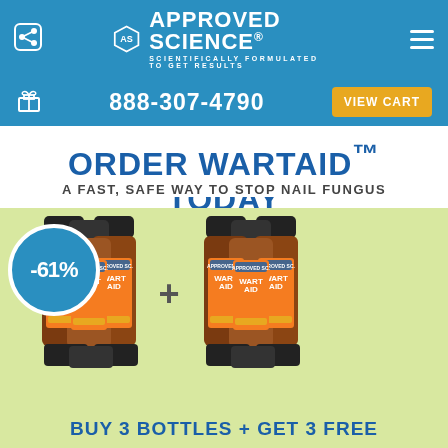[Figure (logo): Approved Science logo with hexagon icon and tagline 'Scientifically Formulated to Get Results']
888-307-4790
VIEW CART
ORDER WARTAID™ TODAY
A FAST, SAFE WAY TO STOP NAIL FUNGUS
[Figure (photo): Product photo showing two groups of WartAid bottles by Approved Science with a plus sign between them and a -61% discount badge. Text reads: BUY 3 BOTTLES + GET 3 FREE]